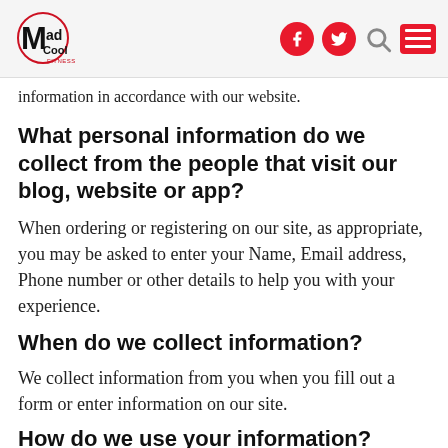Mad Cool Fitness logo with Facebook, Twitter, Search, and Menu icons
information in accordance with our website.
What personal information do we collect from the people that visit our blog, website or app?
When ordering or registering on our site, as appropriate, you may be asked to enter your Name, Email address, Phone number or other details to help you with your experience.
When do we collect information?
We collect information from you when you fill out a form or enter information on our site.
How do we use your information?